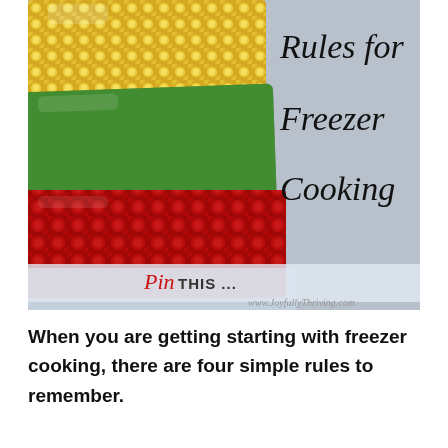[Figure (photo): Photo of frozen vegetables in clear plastic freezer bags (corn, green vegetables, red berries) stacked on a light blue-gray background. Right side shows script text 'Rules for Freezer Cooking'. A semi-transparent overlay near the bottom reads 'Pin THIS ...' with the URL www.JoyfullyThriving.com.]
When you are getting starting with freezer cooking, there are four simple rules to remember.